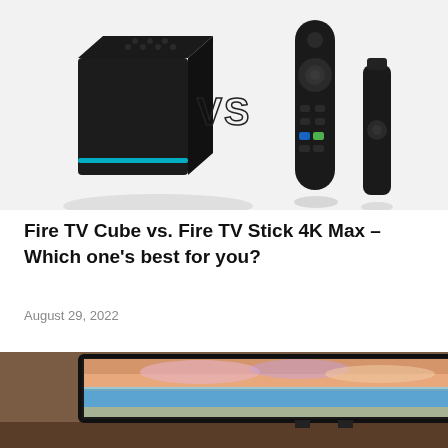[Figure (photo): Fire TV Cube (black cube device with blue light ring) on the left, VS text in the middle, Fire TV Stick 4K Max remote and dongle on the right, on a white/light grey background.]
Fire TV Cube vs. Fire TV Stick 4K Max – Which one's best for you?
August 29, 2022
[Figure (photo): A smart TV displaying a tropical beach scene with colorful sunset sky, placed against a blurred room background. Partial view of a framed window or door on the right side.]